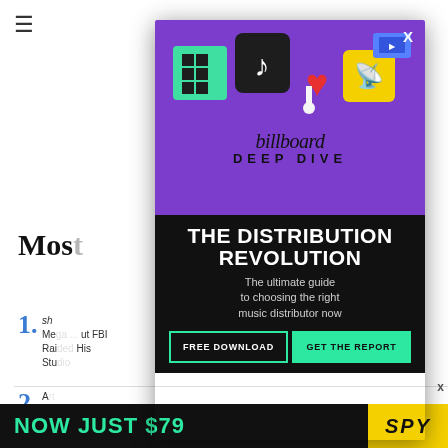[Figure (screenshot): Billboard Deep Dive advertisement modal overlay on top of a webpage. Purple top section with social media/app icons and Billboard Deep Dive logo. Black bottom section with text 'THE DISTRIBUTION REVOLUTION - The ultimate guide to choosing the right music distributor now', two buttons: FREE DOWNLOAD and GET THE REPORT. Background shows 'Most Popular' list with numbered items.]
THE DISTRIBUTION REVOLUTION
The ultimate guide to choosing the right music distributor now
FREE DOWNLOAD    GET THE REPORT
NOW JUST $79